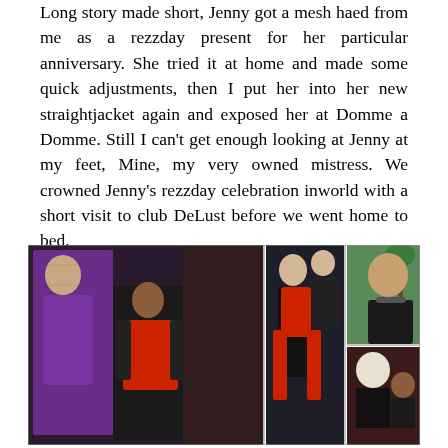Long story made short, Jenny got a mesh haed from me as a rezzday present for her particular anniversary. She tried it at home and made some quick adjustments, then I put her into her new straightjacket again and exposed her at Domme a Domme. Still I can't get enough looking at Jenny at my feet, Mine, my very owned mistress. We crowned Jenny's rezzday celebration inworld with a short visit to club DeLust before we went home to bed.
[Figure (photo): Four screenshots from a 3D virtual world (Second Life style) showing two female avatars in latex/fetish outfits in various scenes: left panel shows a purple latex-clad dominant figure with a submissive figure in red harness; center panel shows similar avatars from a different angle; top-right panel shows a dark-haired avatar with a collar outdoors with palm trees; bottom-right panel shows a white-haired avatar leaning over a dark-haired avatar.]